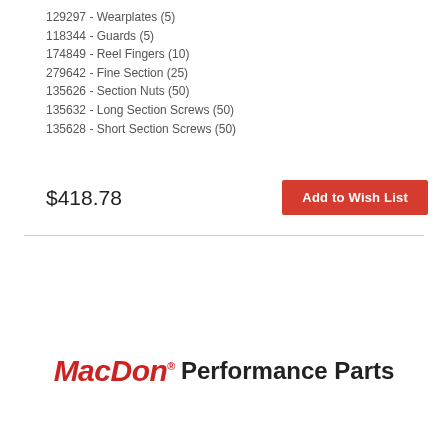129297 - Wearplates (5)
118344 - Guards (5)
174849 - Reel Fingers (10)
279642 - Fine Section (25)
135626 - Section Nuts (50)
135632 - Long Section Screws (50)
135628 - Short Section Screws (50)
$418.78
[Figure (logo): MacDon Performance Parts logo with MacD on in red italic bold and Performance Parts in black bold]